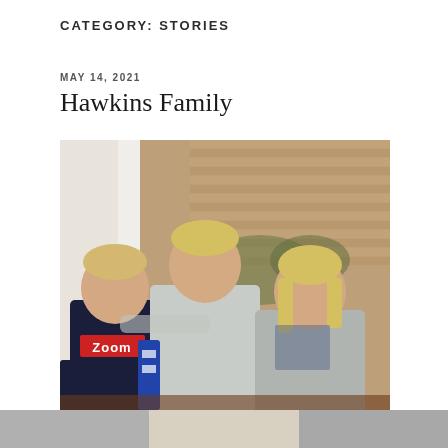CATEGORY: STORIES
MAY 14, 2021
Hawkins Family
[Figure (photo): Three children sitting together outdoors in front of a cedar shingle wall. A younger boy on the left wearing a navy Zoom shirt with chevron sleeves, a teenage boy in the middle wearing a grey and blue striped hoodie, and a girl on the right wearing a grey t-shirt with a graphic print. The setting appears to be a backyard or patio area with some greenery visible.]